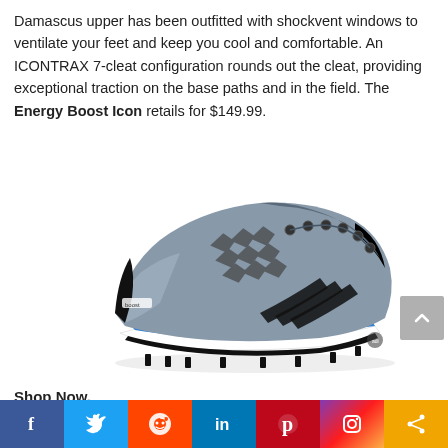Damascus upper has been outfitted with shockvent windows to ventilate your feet and keep you cool and comfortable.  An ICONTRAX 7-cleat configuration rounds out the cleat, providing exceptional traction on the base paths and in the field.  The Energy Boost Icon retails for $149.99.
[Figure (photo): Adidas Energy Boost Icon baseball cleat in grey/black/blue colorway, side view showing cleats on the bottom]
Shop Now.
[Figure (infographic): Social media sharing bar with icons for Facebook, Twitter, Reddit, LinkedIn, Pinterest, Instagram, and Share]